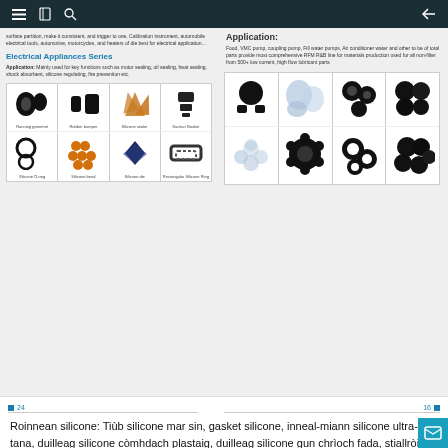Navigation bar with menu, document, search icons and back arrow
... such as polyester, rubber for cement, etc. Calibration instrument, automobile electrical tools, automotive, motorcycles, and heaters of die best for electrical application...
Electrical Appliances Series
Application: Mainly used for key functions such as motor sealing, oil sealing, heat sealing, shock absorbent, silicone regulating, fire prevention etc.
[Figure (photo): 4x2 grid of electrical appliance rubber/silicone parts: Running grommet, Rubber bumper, Silicone sealer, Suction gasket (top row); Silicone O-ring, Silicone bead, Silicone die, Rectangular silicone ring (bottom row)]
Application:
Food, VMC pump, coupling pump, Fill water pumps, Air conditioner water and other to be of total parts provide most comprehensive RFM R&B line for materials production used for all non-filter from 500+ low current, high flow lubricant parts
[Figure (photo): 4x2 grid of pump/motor rubber parts: various black rubber gears, silicone discs, and silicone sealing components]
Roinnean silicone: Tiùb silicone mar sin, gasket silicone, inneal-miann silicone ultra-tana, duilleag silicone còmhdach plastaig, duilleag silicone gun chrìoch fada, stiallròin silicone, stiall cumadh sònraichte ceanglaiche silicone, fàinne seulachaidh bogsa lòn silicone, fàinn bogsa cumail ùr. Cearcall dìon-uisge taisbeanaidh LED, bathar h